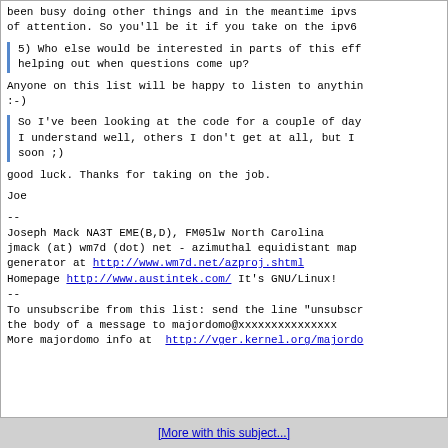been busy doing other things and in the meantime ipvs of attention. So you'll be it if you take on the ipv6
5) Who else would be interested in parts of this eff helping out when questions come up?
Anyone on this list will be happy to listen to anythin :-)
So I've been looking at the code for a couple of day I understand well, others I don't get at all, but I soon ;)
good luck. Thanks for taking on the job.
Joe
--
Joseph Mack NA3T EME(B,D), FM05lw North Carolina
jmack (at) wm7d (dot) net - azimuthal equidistant map
generator at http://www.wm7d.net/azproj.shtml
Homepage http://www.austintek.com/ It's GNU/Linux!
--
To unsubscribe from this list: send the line "unsubscr
the body of a message to majordomo@xxxxxxxxxxxxxxx
More majordomo info at  http://vger.kernel.org/majordo
[More with this subject...]